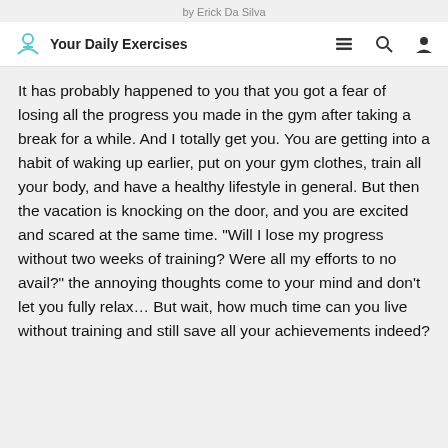by Erick Da Silva
Your Daily Exercises
It has probably happened to you that you got a fear of losing all the progress you made in the gym after taking a break for a while. And I totally get you. You are getting into a habit of waking up earlier, put on your gym clothes, train all your body, and have a healthy lifestyle in general. But then the vacation is knocking on the door, and you are excited and scared at the same time. "Will I lose my progress without two weeks of training? Were all my efforts to no avail?" the annoying thoughts come to your mind and don't let you fully relax… But wait, how much time can you live without training and still save all your achievements indeed?